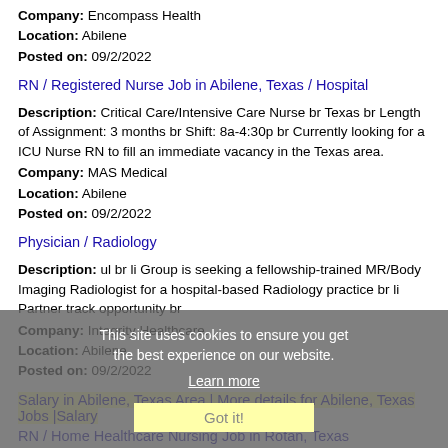Company: Encompass Health
Location: Abilene
Posted on: 09/2/2022
RN / Registered Nurse Job in Abilene, Texas / Hospital
Description: Critical Care/Intensive Care Nurse br Texas br Length of Assignment: 3 months br Shift: 8a-4:30p br Currently looking for a ICU Nurse RN to fill an immediate vacancy in the Texas area.
Company: MAS Medical
Location: Abilene
Posted on: 09/2/2022
Physician / Radiology
Description: ul br li Group is seeking a fellowship-trained MR/Body Imaging Radiologist for a hospital-based Radiology practice br li Partner track opportunity br
Company: Integrity Healthcare...
Location: Abilene
Posted on: 09/2/2022
This site uses cookies to ensure you get the best experience on our website. Learn more Got it!
Salary in Abilene, Texas Area | More details for Abilene, Texas Jobs |Salary
RN / Home Healthcare Nursing Job in Rotan, Texas